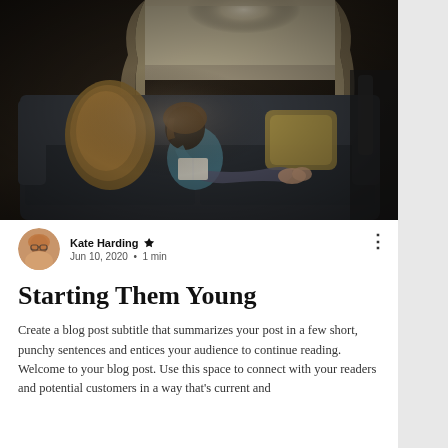[Figure (photo): A child reading a book while sitting on a dark grey sofa with decorative pillows, near a bright window with curtains. Dark, moody indoor lighting.]
Kate Harding 👑
Jun 10, 2020  •  1 min
Starting Them Young
Create a blog post subtitle that summarizes your post in a few short, punchy sentences and entices your audience to continue reading. Welcome to your blog post. Use this space to connect with your readers and potential customers in a way that's current and